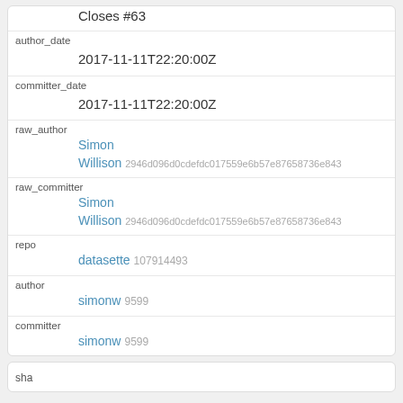Closes #63
author_date
2017-11-11T22:20:00Z
committer_date
2017-11-11T22:20:00Z
raw_author
Simon
Willison 2946d096d0cdefdc017559e6b57e87658736e843
raw_committer
Simon
Willison 2946d096d0cdefdc017559e6b57e87658736e843
repo
datasette 107914493
author
simonw 9599
committer
simonw 9599
sha